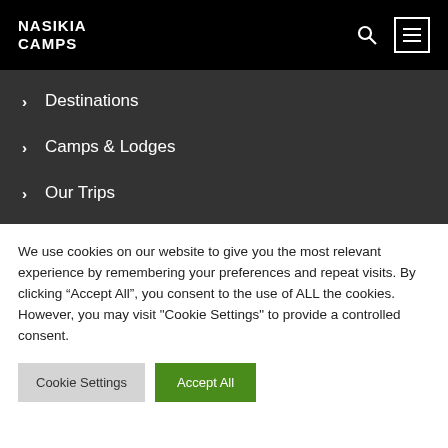NASIKIA CAMPS
> Destinations
> Camps & Lodges
> Our Trips
We use cookies on our website to give you the most relevant experience by remembering your preferences and repeat visits. By clicking “Accept All”, you consent to the use of ALL the cookies. However, you may visit "Cookie Settings" to provide a controlled consent.
Cookie Settings | Accept All